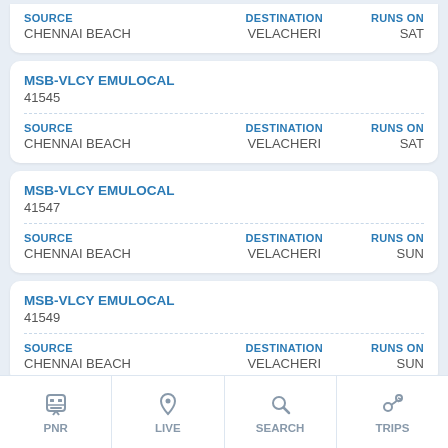| SOURCE | DESTINATION | RUNS ON |
| --- | --- | --- |
| CHENNAI BEACH | VELACHERI | SAT |
MSB-VLCY EMULOCAL
41545
| SOURCE | DESTINATION | RUNS ON |
| --- | --- | --- |
| CHENNAI BEACH | VELACHERI | SAT |
MSB-VLCY EMULOCAL
41547
| SOURCE | DESTINATION | RUNS ON |
| --- | --- | --- |
| CHENNAI BEACH | VELACHERI | SUN |
MSB-VLCY EMULOCAL
41549
| SOURCE | DESTINATION | RUNS ON |
| --- | --- | --- |
| CHENNAI BEACH | VELACHERI | SUN |
PNR | LIVE | SEARCH | TRIPS